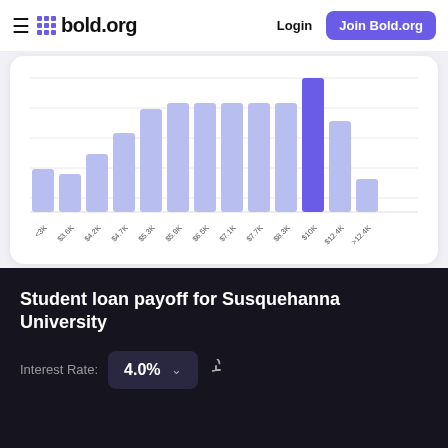bold.org  Login  Join Bold.org
[Figure (bar-chart): Financial aid distribution by amount]
Student loan payoff for Susquehanna University
Interest Rate: 4.0%